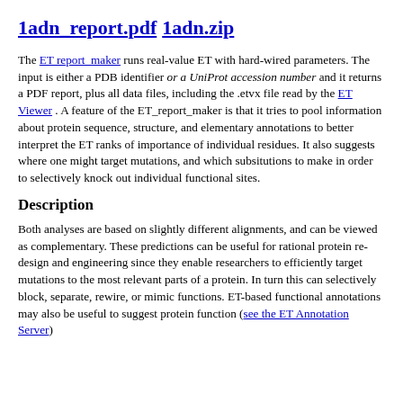1adn_report.pdf  1adn.zip
The ET report_maker runs real-value ET with hard-wired parameters. The input is either a PDB identifier or a UniProt accession number and it returns a PDF report, plus all data files, including the .etvx file read by the ET Viewer . A feature of the ET_report_maker is that it tries to pool information about protein sequence, structure, and elementary annotations to better interpret the ET ranks of importance of individual residues. It also suggests where one might target mutations, and which subsitutions to make in order to selectively knock out individual functional sites.
Description
Both analyses are based on slightly different alignments, and can be viewed as complementary. These predictions can be useful for rational protein re-design and engineering since they enable researchers to efficiently target mutations to the most relevant parts of a protein. In turn this can selectively block, separate, rewire, or mimic functions. ET-based functional annotations may also be useful to suggest protein function (see the ET Annotation Server)